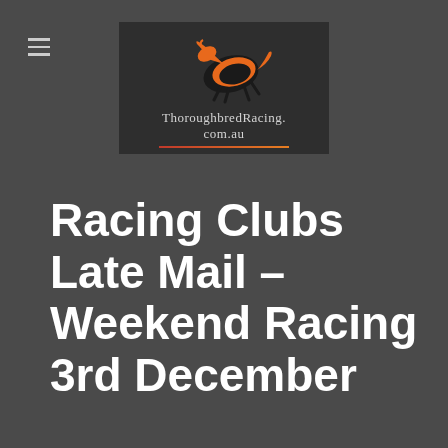[Figure (logo): ThoroughbredRacing.com.au logo on dark background with orange horse silhouette illustration]
Racing Clubs Late Mail – Weekend Racing 3rd December